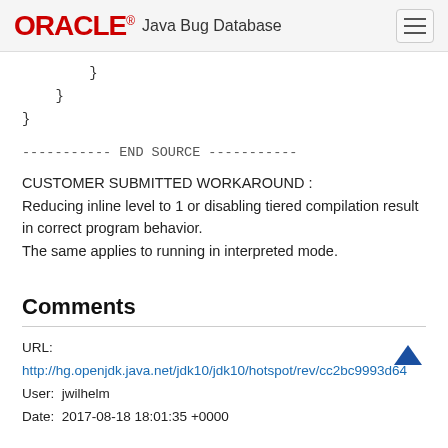ORACLE Java Bug Database
}
    }
}
----------- END SOURCE -----------
CUSTOMER SUBMITTED WORKAROUND :
Reducing inline level to 1 or disabling tiered compilation result in correct program behavior.
The same applies to running in interpreted mode.
Comments
URL: http://hg.openjdk.java.net/jdk10/jdk10/hotspot/rev/cc2bc9993d64
User: jwilhelm
Date: 2017-08-18 18:01:35 +0000